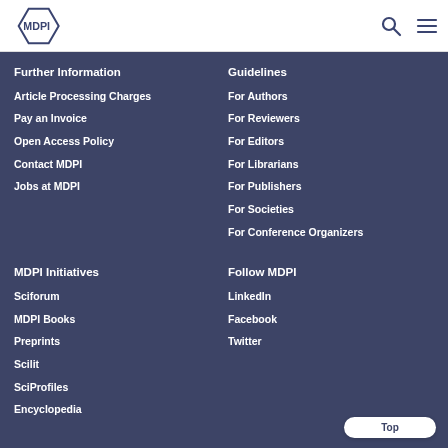MDPI
Further Information
Article Processing Charges
Pay an Invoice
Open Access Policy
Contact MDPI
Jobs at MDPI
Guidelines
For Authors
For Reviewers
For Editors
For Librarians
For Publishers
For Societies
For Conference Organizers
MDPI Initiatives
Sciforum
MDPI Books
Preprints
Scilit
SciProfiles
Encyclopedia
Follow MDPI
LinkedIn
Facebook
Twitter